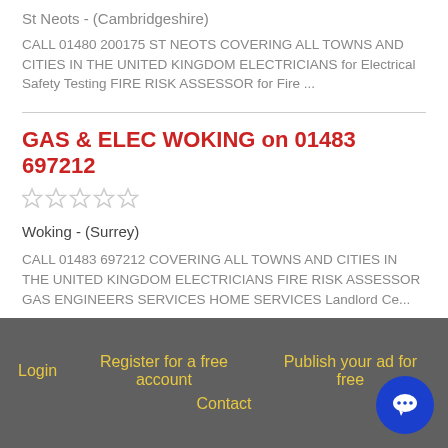St Neots - (Cambridgeshire)
CALL 01480 200175 ST NEOTS COVERING ALL TOWNS AND CITIES IN THE UNITED KINGDOM ELECTRICIANS for Electrical Safety Testing FIRE RISK ASSESSOR for Fire ...
GAS & ELEC WOKING on 01483 697212
Woking - (Surrey)
CALL 01483 697212 COVERING ALL TOWNS AND CITIES IN THE UNITED KINGDOM ELECTRICIANS FIRE RISK ASSESSOR GAS ENGINEERS SERVICES HOME SERVICES Landlord Ce...
Login   Register for a free account   Publish your ad for free   Contact